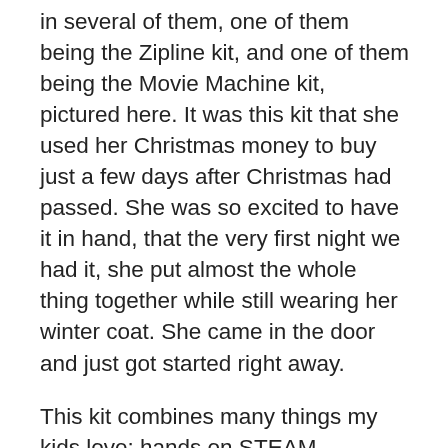in several of them, one of them being the Zipline kit, and one of them being the Movie Machine kit, pictured here. It was this kit that she used her Christmas money to buy just a few days after Christmas had passed. She was so excited to have it in hand, that the very first night we had it, she put almost the whole thing together while still wearing her winter coat. She came in the door and just got started right away.
This kit combines many things my kids love: hands on STEAM activities, history, and literacy. It teaches them the history of the zoetrope, which is the very first type of animation, and teaches them step-by-step how to make their own animated movies in their own zoetrope.
It's amazing. Truly. When you watch our YouTube video showing one of the animations my daughter made that